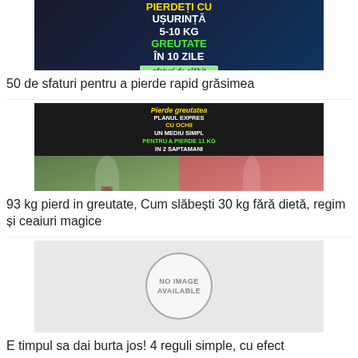[Figure (illustration): Advertisement image for weight loss: text 'Pierdeti cu usurinta 5-10 kg greutate in 10 zile' with 'sfaturi de slabit' banner on dark background]
50 de sfaturi pentru a pierde rapid grăsimea
[Figure (illustration): Weight loss blog thumbnail showing before/after photos of women with text 'Pierde greutatea - Planul Express cu ochii. Un mediu simpl pentru a pierde 11 kg in 2 saptamani']
93 kg pierd in greutate, Cum slăbești 30 kg fără dietă, regim și ceaiuri magice
[Figure (illustration): No image available placeholder with circle]
E timpul sa dai burta jos! 4 reguli simple, cu efect